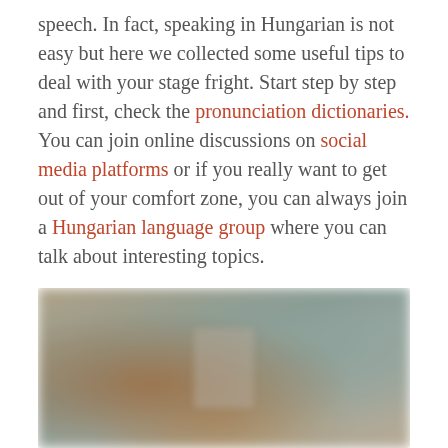speech. In fact, speaking in Hungarian is not easy but here we collected some useful tips to deal with your stage fright. Start step by step and first, check the pronunciation dictionaries. You can join online discussions on social media platforms or if you really want to get out of your comfort zone, you can always join a Hungarian language group where you can talk about interesting topics.
[Figure (photo): A blurred photograph, likely showing a room or indoor setting with warm and cool tones, partially visible objects in the background.]